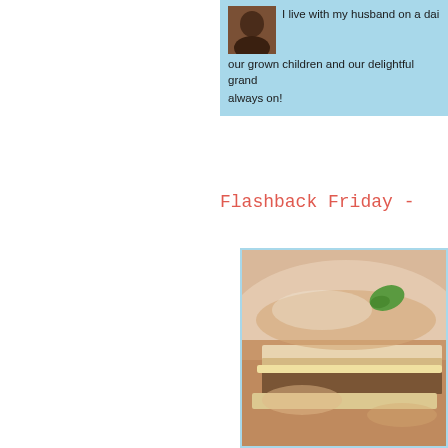I live with my husband on a dai... our grown children and our delightful grand... always on!
Flashback Friday -
[Figure (photo): Close-up food photo showing what appears to be lasagna or a layered pasta dish with meat filling, cheese, and cream sauce, garnished with a green herb leaf, on a white plate.]